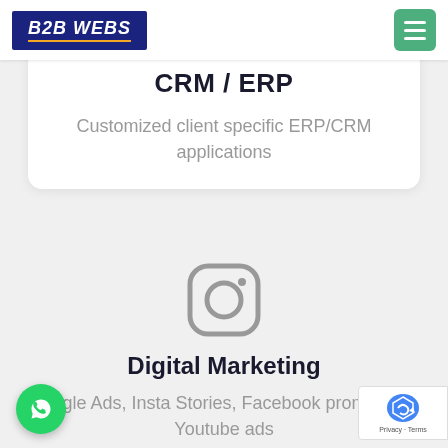[Figure (logo): B2B WEBS logo in dark navy blue box with italic bold white text and orange underline]
[Figure (other): Hamburger menu icon on green rounded square button]
CRM / ERP
Customized client specific ERP/CRM applications
[Figure (illustration): Instagram icon - rounded square outline with circle and dot inside, grey color]
Digital Marketing
Google Ads, Insta Stories, Facebook promotions, Youtube ads
[Figure (logo): WhatsApp icon green circle button bottom left]
[Figure (other): Google reCAPTCHA badge bottom right showing Privacy - Terms]